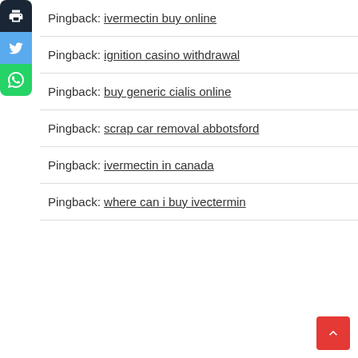Pingback: ivermectin buy online
Pingback: ignition casino withdrawal
Pingback: buy generic cialis online
Pingback: scrap car removal abbotsford
Pingback: ivermectin in canada
Pingback: where can i buy ivectermin